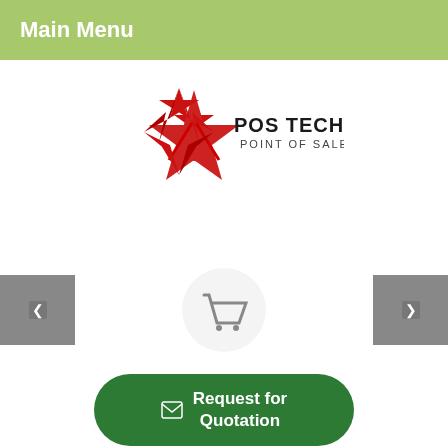Main Menu
[Figure (logo): POS Tech Direct logo with red star graphic and text 'POS TECH DIRECT POINT OF SALE']
[Figure (other): Shopping cart icon centered between left and right navigation arrow buttons]
Request for Quotation